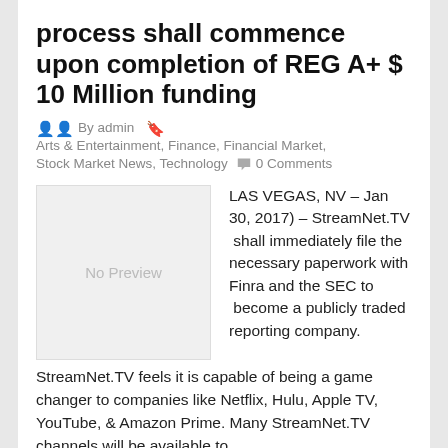process shall commence upon completion of REG A+ $ 10 Million funding
By admin  Arts & Entertainment, Finance, Financial Market, Stock Market News, Technology  0 Comments
[Figure (other): No Preview placeholder image box]
LAS VEGAS, NV – Jan 30, 2017) – StreamNet.TV  shall immediately file the necessary paperwork with Finra and the SEC to  become a publicly traded reporting company. StreamNet.TV feels it is capable of being a game changer to companies like Netflix, Hulu, Apple TV, YouTube, & Amazon Prime. Many StreamNet.TV channels will be available to
Read More
January 30, 2017